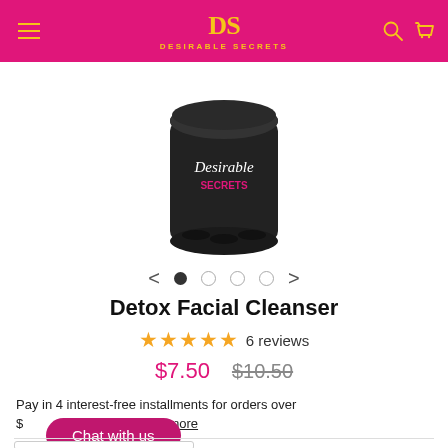Desirable Secrets
[Figure (photo): A dark-colored cylindrical product jar for Desirable Secrets Detox Facial Cleanser, partially shown from the top.]
Detox Facial Cleanser
★★★★★ 6 reviews
$7.50   $10.50
Pay in 4 interest-free installments for orders over $ Learn more